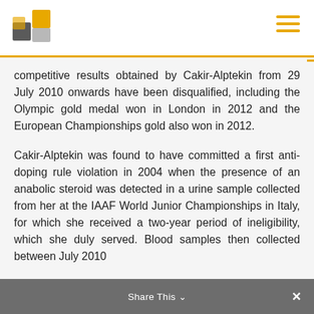[Logo] [Menu icon]
competitive results obtained by Cakir-Alptekin from 29 July 2010 onwards have been disqualified, including the Olympic gold medal won in London in 2012 and the European Championships gold also won in 2012.
Cakir-Alptekin was found to have committed a first anti-doping rule violation in 2004 when the presence of an anabolic steroid was detected in a urine sample collected from her at the IAAF World Junior Championships in Italy, for which she received a two-year period of ineligibility, which she duly served. Blood samples then collected between July 2010...
Share This ×